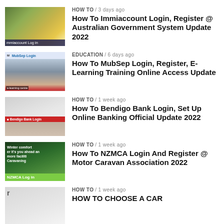[Figure (screenshot): Thumbnail for Immiaccount Login article]
HOW TO / 3 days ago
How To Immiaccount Login, Register @ Australian Government System Update 2022
[Figure (screenshot): Thumbnail for MubSep Login article]
EDUCATION / 6 days ago
How To MubSep Login, Register, E-Learning Training Online Access Update
[Figure (screenshot): Thumbnail for Bendigo Bank Login article]
HOW TO / 1 week ago
How To Bendigo Bank Login, Set Up Online Banking Official Update 2022
[Figure (screenshot): Thumbnail for NZMCA Login article]
HOW TO / 1 week ago
How To NZMCA Login And Register @ Motor Caravan Association 2022
[Figure (screenshot): Thumbnail for How To Choose A Car article]
HOW TO / 1 week ago
HOW TO CHOOSE A CAR